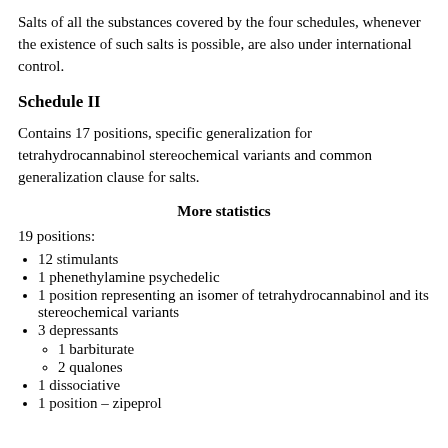Salts of all the substances covered by the four schedules, whenever the existence of such salts is possible, are also under international control.
Schedule II
Contains 17 positions, specific generalization for tetrahydrocannabinol stereochemical variants and common generalization clause for salts.
More statistics
19 positions:
12 stimulants
1 phenethylamine psychedelic
1 position representing an isomer of tetrahydrocannabinol and its stereochemical variants
3 depressants
1 barbiturate
2 qualones
1 dissociative
1 position – zipeprol